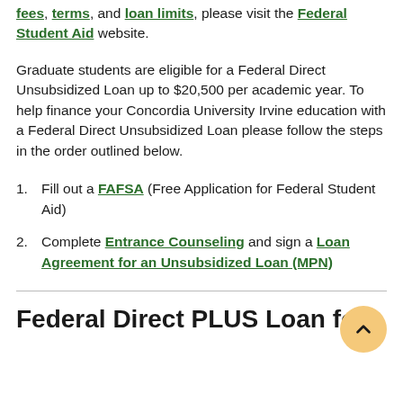fees, terms, and loan limits, please visit the Federal Student Aid website.
Graduate students are eligible for a Federal Direct Unsubsidized Loan up to $20,500 per academic year. To help finance your Concordia University Irvine education with a Federal Direct Unsubsidized Loan please follow the steps in the order outlined below.
Fill out a FAFSA (Free Application for Federal Student Aid)
Complete Entrance Counseling and sign a Loan Agreement for an Unsubsidized Loan (MPN)
Federal Direct PLUS Loan for